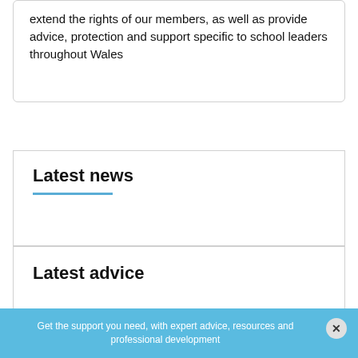extend the rights of our members, as well as provide advice, protection and support specific to school leaders throughout Wales
Latest news
Latest advice
Get the support you need, with expert advice, resources and professional development